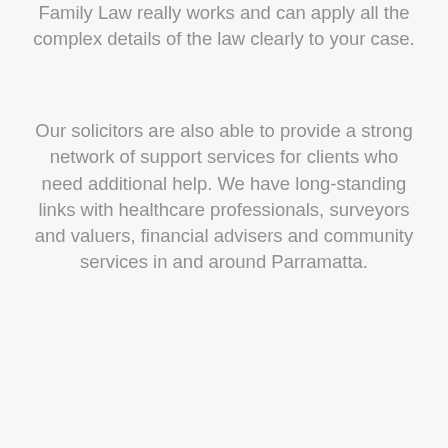Family Law really works and can apply all the complex details of the law clearly to your case.
Our solicitors are also able to provide a strong network of support services for clients who need additional help. We have long-standing links with healthcare professionals, surveyors and valuers, financial advisers and community services in and around Parramatta.